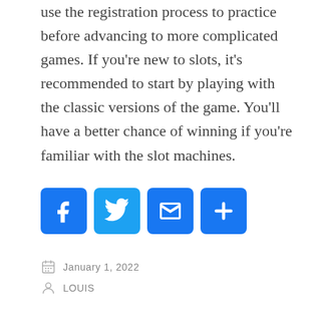use the registration process to practice before advancing to more complicated games. If you're new to slots, it's recommended to start by playing with the classic versions of the game. You'll have a better chance of winning if you're familiar with the slot machines.
[Figure (other): Social share buttons: Facebook, Twitter, Email, Share]
January 1, 2022
LOUIS